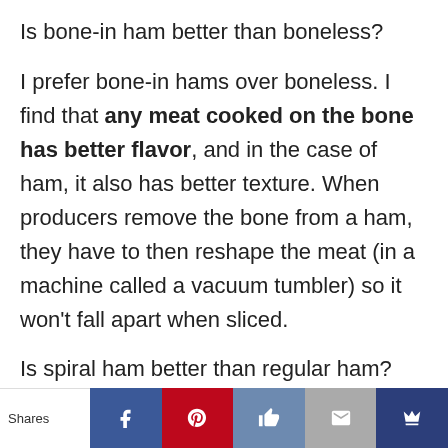Is bone-in ham better than boneless?
I prefer bone-in hams over boneless. I find that any meat cooked on the bone has better flavor, and in the case of ham, it also has better texture. When producers remove the bone from a ham, they have to then reshape the meat (in a machine called a vacuum tumbler) so it won't fall apart when sliced.
Is spiral ham better than regular ham?
Shares [Facebook] [Pinterest] [Like] [Email] [Crown]